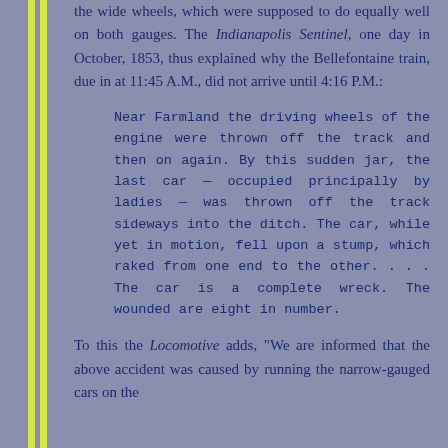the wide wheels, which were supposed to do equally well on both gauges. The Indianapolis Sentinel, one day in October, 1853, thus explained why the Bellefontaine train, due in at 11:45 A.M., did not arrive until 4:16 P.M.:
Near Farmland the driving wheels of the engine were thrown off the track and then on again. By this sudden jar, the last car — occupied principally by ladies — was thrown off the track sideways into the ditch. The car, while yet in motion, fell upon a stump, which raked from one end to the other. . . . The car is a complete wreck. The wounded are eight in number.
To this the Locomotive adds, "We are informed that the above accident was caused by running the narrow-gauged cars on the